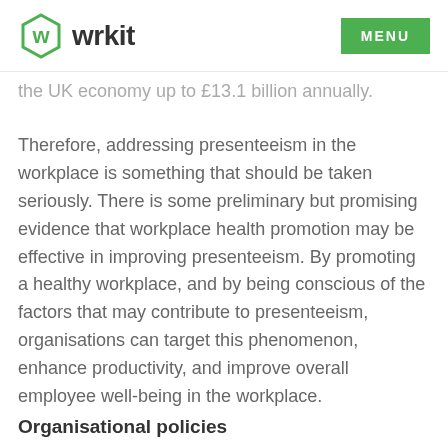wrkit  MENU
the UK economy up to £13.1 billion annually.
Therefore, addressing presenteeism in the workplace is something that should be taken seriously. There is some preliminary but promising evidence that workplace health promotion may be effective in improving presenteeism. By promoting a healthy workplace, and by being conscious of the factors that may contribute to presenteeism, organisations can target this phenomenon, enhance productivity, and improve overall employee well-being in the workplace.
Organisational policies